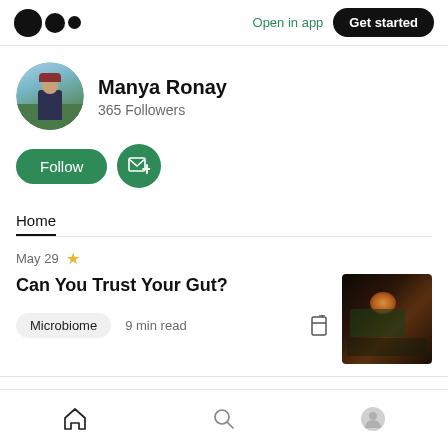Medium logo | Open in app | Get started
Manya Ronay
365 Followers
Follow | Subscribe
Home
May 29
Can You Trust Your Gut?
Microbiome  9 min read
[Figure (photo): Thumbnail image of a person dining with warm amber lighting]
Home | Search | Profile navigation icons